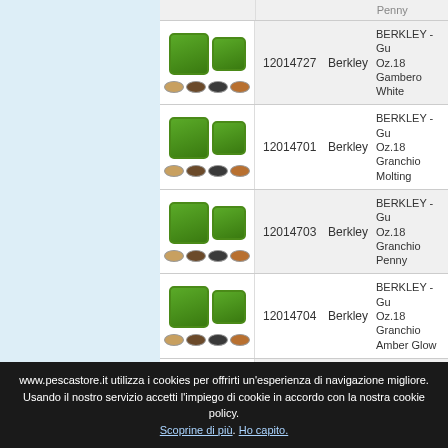| Image | Code | Brand | Product |
| --- | --- | --- | --- |
| [img] | 12014727 | Berkley | BERKLEY - Gulp Oz.18 Gambero White |
| [img] | 12014701 | Berkley | BERKLEY - Gulp Oz.18 Granchio Molting |
| [img] | 12014703 | Berkley | BERKLEY - Gulp Oz.18 Granchio Penny |
| [img] | 12014704 | Berkley | BERKLEY - Gulp Oz.18 Granchio Amber Glow |
| [img] | 12014705 | Berkley | BERKLEY - Gulp Oz.18 Granchio Molting |
www.pescastore.it utilizza i cookies per offrirti un'esperienza di navigazione migliore. Usando il nostro servizio accetti l'impiego di cookie in accordo con la nostra cookie policy. Scoprine di più. Ho capito.